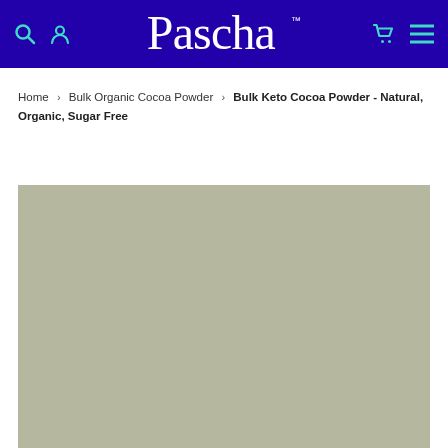Pascha — navigation header with search, account, cart, and menu icons
Home > Bulk Organic Cocoa Powder > Bulk Keto Cocoa Powder - Natural, Organic, Sugar Free
[Figure (photo): Product image placeholder — solid sage/olive-green colored rectangle representing a product photo area]